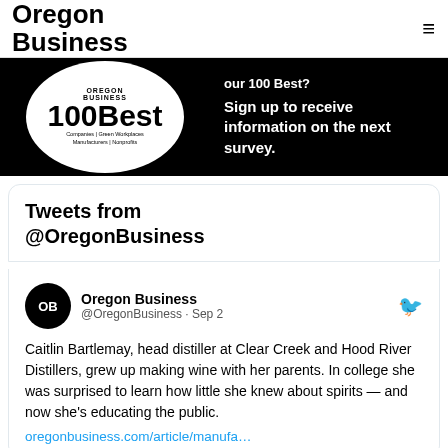Oregon Business
[Figure (other): Oregon Business 100 Best badge and sign-up banner on black background. Text: 'our 100 Best? Sign up to receive information on the next survey.']
Tweets from @OregonBusiness
Oregon Business @OregonBusiness · Sep 2
Caitlin Bartlemay, head distiller at Clear Creek and Hood River Distillers, grew up making wine with her parents. In college she was surprised to learn how little she knew about spirits — and now she's educating the public. oregonbusiness.com/article/manufa…